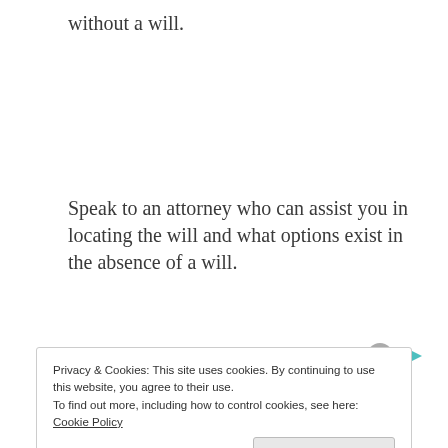without a will.
Speak to an attorney who can assist you in locating the will and what options exist in the absence of a will.
[Figure (other): Small avatar/person icon and a play/share icon in teal color]
Privacy & Cookies: This site uses cookies. By continuing to use this website, you agree to their use.
To find out more, including how to control cookies, see here: Cookie Policy
Close and accept